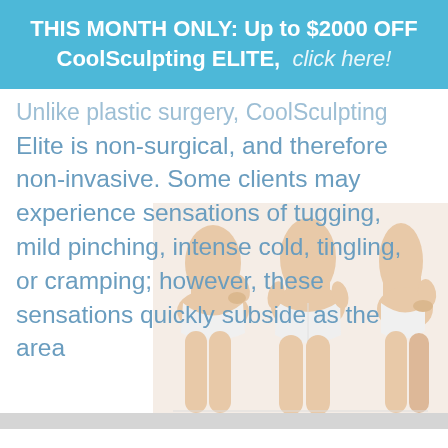THIS MONTH ONLY: Up to $2000 OFF CoolSculpting ELITE,  click here!
Unlike plastic surgery, CoolSculpting Elite is non-surgical, and therefore non-invasive. Some clients may experience sensations of tugging, mild pinching, intense cold, tingling, or cramping; however, these sensations quickly subside as the area
[Figure (photo): Three women in white underwear shown from the waist down, posing to show body contouring results. Left figure faces away pinching side, center figure faces away hands on hips, right figure faces to the side hands on hip.]